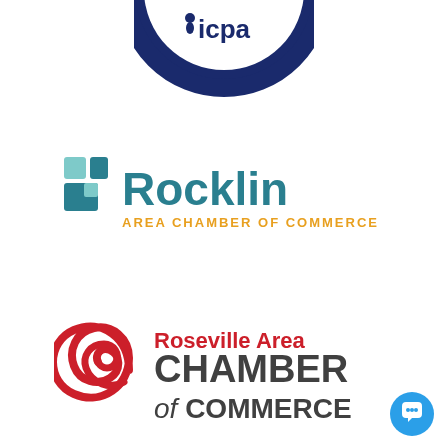[Figure (logo): ICPA Supporting Member circular badge logo — dark navy blue circle with white text 'icpa' and 'SUPPORTING MEMBER' around the arc, with a small figure/person icon]
[Figure (logo): Rocklin Area Chamber of Commerce logo — teal/blue geometric square tiles icon on left, 'Rocklin' in large teal text, 'AREA CHAMBER OF COMMERCE' in gold/yellow uppercase text below]
[Figure (logo): Roseville Area Chamber of Commerce logo — red spiral/swirl '9' shape icon on left, 'Roseville Area' in red text, 'CHAMBER' in large bold dark gray text, 'of COMMERCE' in italic dark gray text]
[Figure (illustration): Blue circular chat/speech bubble button icon in bottom right corner]